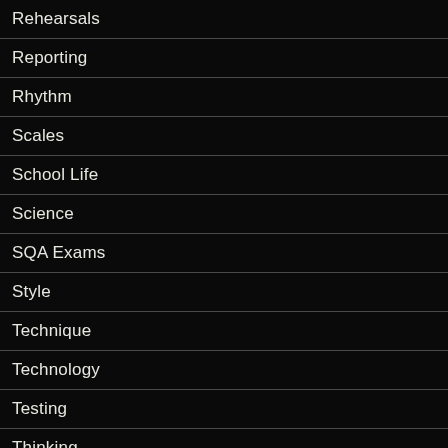Rehearsals
Reporting
Rhythm
Scales
School Life
Science
SQA Exams
Style
Technique
Technology
Testing
Thinking
Transition